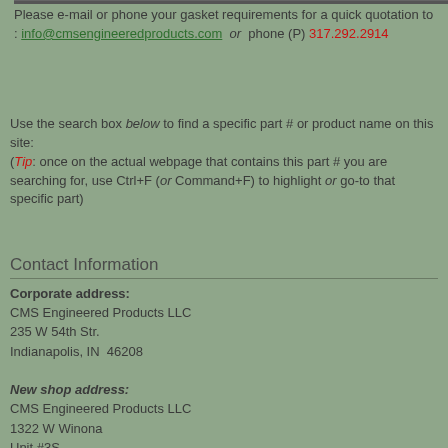Please e-mail or phone your gasket requirements for a quick quotation to : info@cmsengineeredproducts.com or phone (P) 317.292.2914
Use the search box below to find a specific part # or product name on this site: (Tip: once on the actual webpage that contains this part # you are searching for, use Ctrl+F (or Command+F) to highlight or go-to that specific part)
Contact Information
Corporate address:
CMS Engineered Products LLC
235 W 54th Str.
Indianapolis, IN  46208

New shop address:
CMS Engineered Products LLC
1322 W Winona
Unit #3S
Chicago, IL  60640